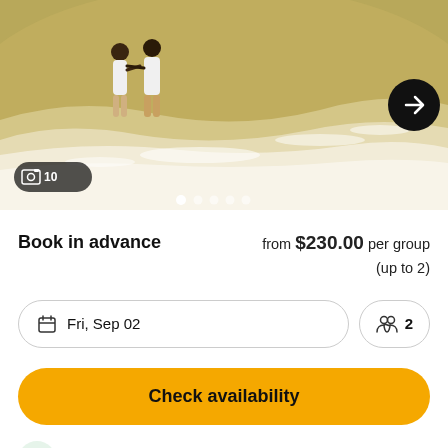[Figure (photo): Couple walking on beach shore with ocean waves, aerial/wide view. Beach scene with golden water and white foam.]
Book in advance
from $230.00 per group (up to 2)
Fri, Sep 02
2
Check availability
Free cancellation